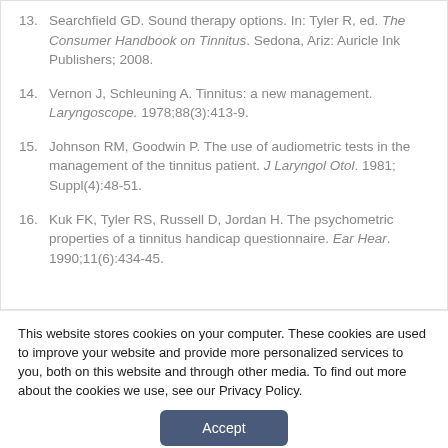13. Searchfield GD. Sound therapy options. In: Tyler R, ed. The Consumer Handbook on Tinnitus. Sedona, Ariz: Auricle Ink Publishers; 2008.
14. Vernon J, Schleuning A. Tinnitus: a new management. Laryngoscope. 1978;88(3):413-9.
15. Johnson RM, Goodwin P. The use of audiometric tests in the management of the tinnitus patient. J Laryngol Otol. 1981; Suppl(4):48-51.
16. Kuk FK, Tyler RS, Russell D, Jordan H. The psychometric properties of a tinnitus handicap questionnaire. Ear Hear. 1990;11(6):434-45.
This website stores cookies on your computer. These cookies are used to improve your website and provide more personalized services to you, both on this website and through other media. To find out more about the cookies we use, see our Privacy Policy.